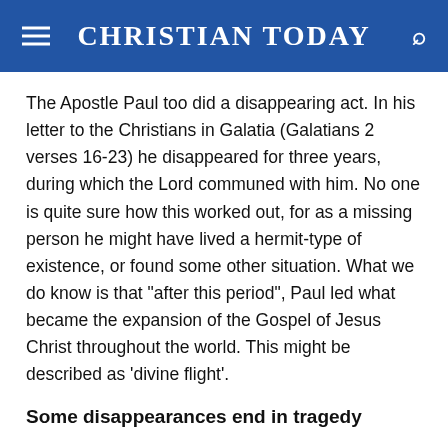CHRISTIAN TODAY
The Apostle Paul too did a disappearing act. In his letter to the Christians in Galatia (Galatians 2 verses 16-23) he disappeared for three years, during which the Lord communed with him. No one is quite sure how this worked out, for as a missing person he might have lived a hermit-type of existence, or found some other situation. What we do know is that "after this period", Paul led what became the expansion of the Gospel of Jesus Christ throughout the world. This might be described as 'divine flight'.
Some disappearances end in tragedy
We hear of these on the news. Two recent examples: Last month Jill Meagher 29, an ABC employee in Melbourne was